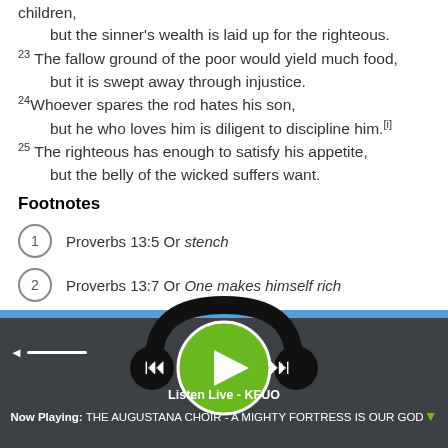children,
    but the sinner's wealth is laid up for the righteous.
23 The fallow ground of the poor would yield much food,
    but it is swept away through injustice.
24 Whoever spares the rod hates his son,
    but he who loves him is diligent to discipline him.[i]
25 The righteous has enough to satisfy his appetite,
    but the belly of the wicked suffers want.
Footnotes
1  Proverbs 13:5 Or stench
2  Proverbs 13:7 Or One makes himself rich
[Figure (screenshot): Audio player widget with headphones icon overlay, green play button, skip back and skip forward buttons, blue stripe, dark gray player bar, volume control, Listen Live - KFUO text, Now Playing: THE AUGUSTANA CHOIR - A MIGHTY FORTRESS IS OUR GOD]